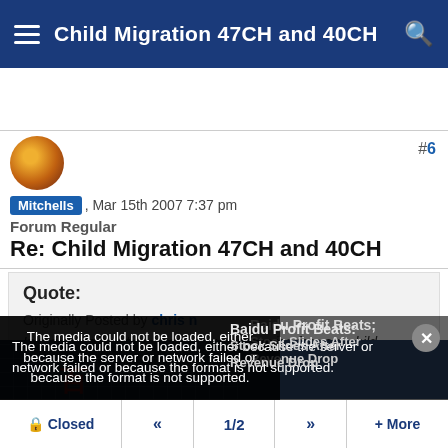Child Migration 47CH and 40CH
Mitchells , Mar 15th 2007 7:37 pm
Forum Regular
Re: Child Migration 47CH and 40CH
Quote:
Originally Posted by chris n
In the same position - have you got the visa for your child
[Figure (screenshot): Media error overlay: 'The media could not be loaded, either because the server or network failed or because the format is not supported.' with close button. Background shows partial view of a building with Chinese characters (Baidu). News headline visible: 'Baidu Profit Beats; Stock Slides After Revenue Drop']
Closed  «  1/2  »  + More